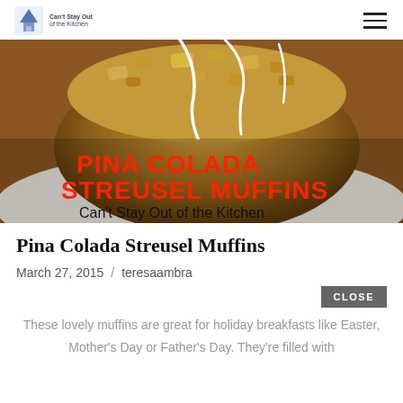Can't Stay Out of the Kitchen
[Figure (photo): Close-up photo of a Pina Colada Streusel Muffin with crumble topping and white icing drizzle on a white plate. Text overlay reads 'PINA COLADA STREUSEL MUFFINS' in red bold font and 'Can't Stay Out of the Kitchen' in black handwritten font.]
Pina Colada Streusel Muffins
March 27, 2015 / teresaambra
These lovely muffins are great for holiday breakfasts like Easter, Mother's Day or Father's Day. They're filled with